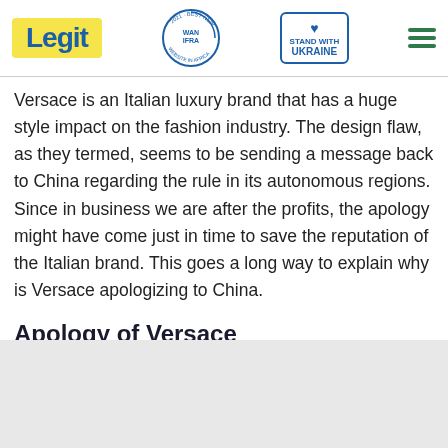[Figure (logo): Legit logo on yellow background, WAN-IFRA 2021 Best News Website in Africa badge, Stand with Ukraine badge with heart, hamburger menu icon]
Versace is an Italian luxury brand that has a huge style impact on the fashion industry. The design flaw, as they termed, seems to be sending a message back to China regarding the rule in its autonomous regions. Since in business we are after the profits, the apology might have come just in time to save the reputation of the Italian brand. This goes a long way to explain why is Versace apologizing to China.
Apology of Versace
[Figure (photo): Gray placeholder image area at bottom of page]